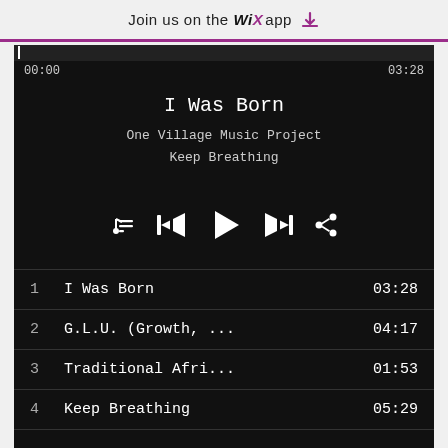Join us on the WiX app (download icon)
[Figure (screenshot): Music player interface on dark background showing song 'I Was Born' by One Village Music Project, album Keep Breathing. Progress bar at 00:00 of 03:28. Playback controls: playlist, skip back, play, skip forward, share. Playlist: 1 I Was Born 03:28, 2 G.L.U. (Growth, ... 04:17, 3 Traditional Afri... 01:53, 4 Keep Breathing 05:29]